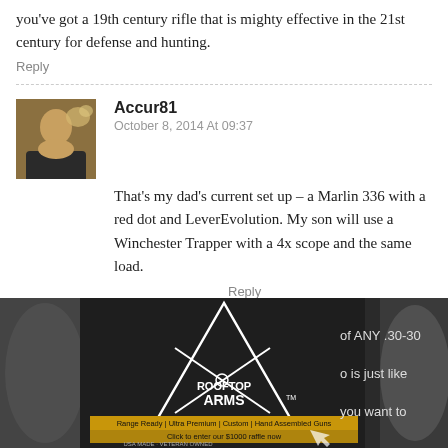you've got a 19th century rifle that is mighty effective in the 21st century for defense and hunting.
Reply
Accur81
October 8, 2014 At 09:37
That's my dad's current set up – a Marlin 336 with a red dot and LeverEvolution. My son will use a Winchester Trapper with a 4x scope and the same load.
Reply
Mark Gerrard
of ANY .30-30
o is just like
you want to
[Figure (photo): Advertisement overlay for Rooftop Arms showing logo with crossed rifles inside a triangle, text: Range Ready | Ultra Premium | Custom | Hand Assembled Guns, Click to enter our $1000 raffle now, USA MADE · VETERAN OWNED]